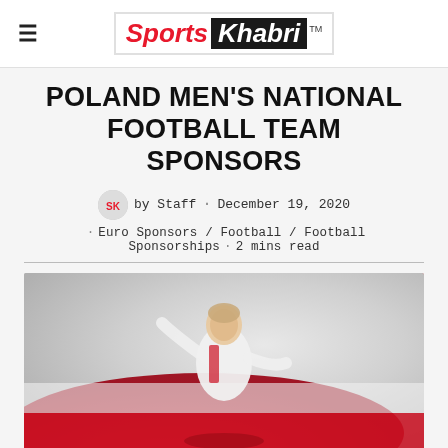Sports Khabri
POLAND MEN'S NATIONAL FOOTBALL TEAM SPONSORS
by Staff · December 19, 2020
· Euro Sponsors / Football / Football Sponsorships · 2 mins read
[Figure (photo): A Poland football player in white and red kit celebrating, with red and white colors in the background]